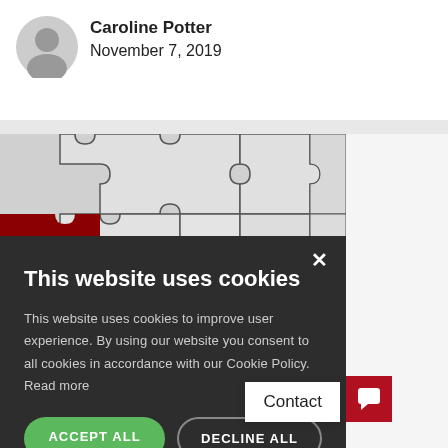Caroline Potter
November 7, 2019
[Figure (photo): Puzzle pieces with a dark red piece labeled 'OPT OUT' among white/gray puzzle pieces]
This website uses cookies

This website uses cookies to improve user experience. By using our website you consent to all cookies in accordance with our Cookie Policy. Read more

ACCEPT ALL   DECLINE ALL

SHOW DETAILS
Scottish Parliament means that